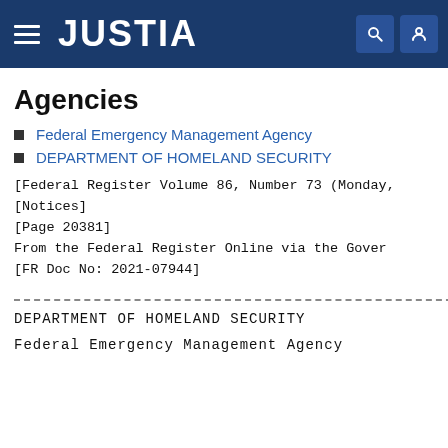JUSTIA
Agencies
Federal Emergency Management Agency
DEPARTMENT OF HOMELAND SECURITY
[Federal Register Volume 86, Number 73 (Monday,
[Notices]
[Page 20381]
From the Federal Register Online via the Gover
[FR Doc No: 2021-07944]
DEPARTMENT OF HOMELAND SECURITY
Federal Emergency Management Agency